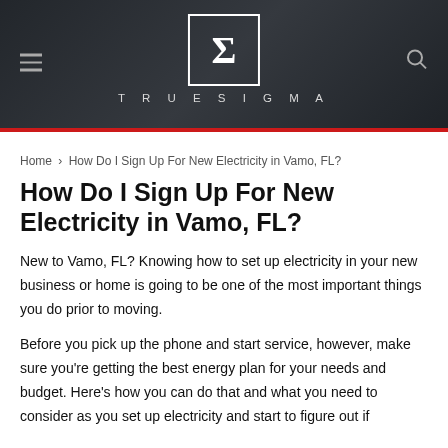[Figure (logo): TrueSigma website header with dark background, hamburger menu icon on left, sigma symbol logo in center with square border, search icon on right, and site name TRUESIGMA below logo]
TRUESIGMA
Home › How Do I Sign Up For New Electricity in Vamo, FL?
How Do I Sign Up For New Electricity in Vamo, FL?
New to Vamo, FL? Knowing how to set up electricity in your new business or home is going to be one of the most important things you do prior to moving.
Before you pick up the phone and start service, however, make sure you're getting the best energy plan for your needs and budget. Here's how you can do that and what you need to consider as you set up electricity and start to figure out if